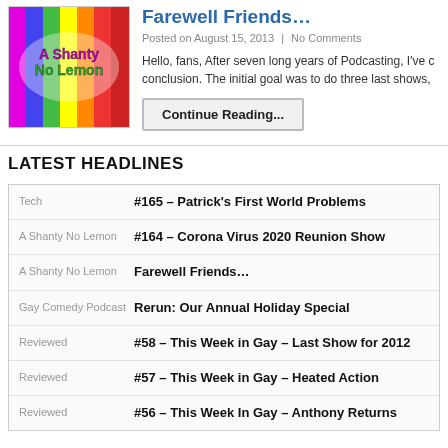[Figure (photo): Rainbow striped image with 'A Shanty No Lemon' text overlay]
Farewell Friends…
Posted on August 15, 2013  |  No Comments
Hello, fans,  After seven long years of Podcasting, I've c conclusion. The initial goal was to do three last shows,
Continue Reading…
LATEST HEADLINES
Tech — #165 – Patrick's First World Problems
A Shanty No Lemon — #164 – Corona Virus 2020 Reunion Show
A Shanty No Lemon — Farewell Friends…
Gay Comedy Podcast — Rerun: Our Annual Holiday Special
Reviewed — #58 – This Week in Gay – Last Show for 2012
Reviewed — #57 – This Week in Gay – Heated Action
Reviewed — #56 – This Week In Gay – Anthony Returns